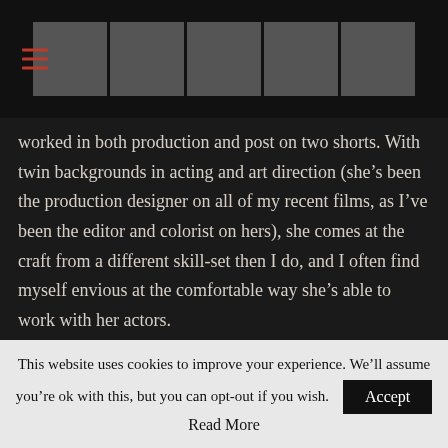[Header with hamburger menu icon and strip of 5 thumbnail images]
worked in both production and post on two shorts. With twin backgrounds in acting and art direction (she’s been the production designer on all of my recent films, as I’ve been the editor and colorist on hers), she comes at the craft from a different skill-set then I do, and I often find myself envious at the comfortable way she’s able to work with her actors.
If you think that men make better directors then women, you’re wrong. And if you’re lucky enough to get a job on a film, as tough as this industry is, and you can find yourself able to insult or demean the woman who’s directing because of her gender, then
This website uses cookies to improve your experience. We’ll assume you’re ok with this, but you can opt-out if you wish. Accept
Read More